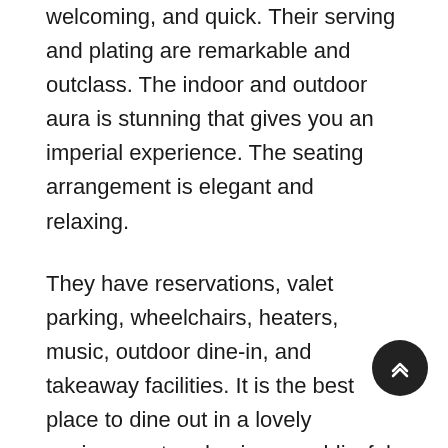welcoming, and quick. Their serving and plating are remarkable and outclass. The indoor and outdoor aura is stunning that gives you an imperial experience. The seating arrangement is elegant and relaxing.
They have reservations, valet parking, wheelchairs, heaters, music, outdoor dine-in, and takeaway facilities. It is the best place to dine out in a lovely environment and enjoy your blissful moments. If you plan on visiting here, make sure to bring a cash amount with you because they don't authorize cards.
In this article, we will tell you about the Coconut Grove Restaurant Karachi branch. Their menu card with pr... contact number for booking, timings, map with location, and more.